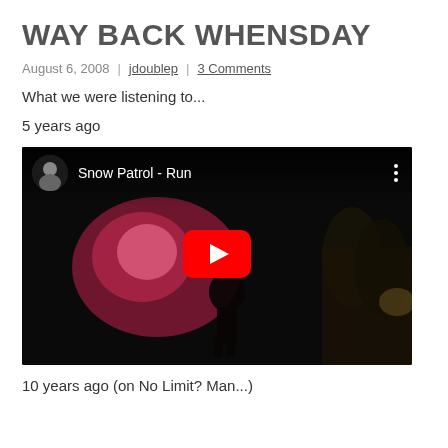WAY BACK WHENSDAY
August 6, 2008  |  jdoublep  |  3 Comments
What we were listening to...
5 years ago
[Figure (screenshot): YouTube video embed showing Snow Patrol - Run, with a dark red-toned thumbnail of a silhouetted person with a bright red/pink light, and a large YouTube play button in the center.]
10 years ago (on No Limit? Man...)